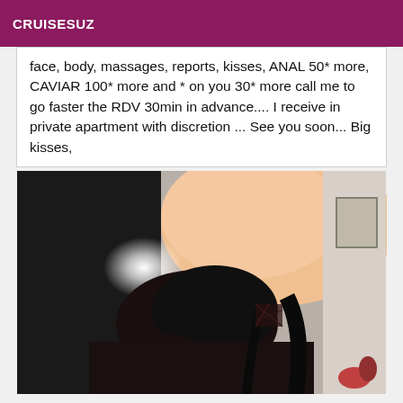CRUISESUZ
face, body, massages, reports, kisses, ANAL 50* more, CAVIAR 100* more and * on you 30* more call me to go faster the RDV 30min in advance.... I receive in private apartment with discretion ... See you soon... Big kisses,
[Figure (photo): Close-up photograph of a person with dark hair in a bun, wearing a black outfit, photographed from behind/above in an indoor setting.]